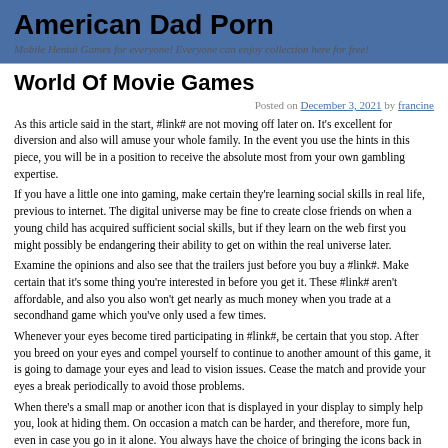American Dad Porn
Mobile Hentai Games for everyone! Everyone can enjoy collection here for free!
World Of Movie Games
Posted on December 3, 2021 by francine
As this article said in the start, #link# are not moving off later on. It's excellent for diversion and also will amuse your whole family. In the event you use the hints in this piece, you will be in a position to receive the absolute most from your own gambling expertise.
If you have a little one into gaming, make certain they're learning social skills in real life, previous to internet. The digital universe may be fine to create close friends on when a young child has acquired sufficient social skills, but if they learn on the web first you might possibly be endangering their ability to get on within the real universe later.
Examine the opinions and also see that the trailers just before you buy a #link#. Make certain that it's some thing you're interested in before you get it. These #link# aren't affordable, and also you also won't get nearly as much money when you trade at a secondhand game which you've only used a few times.
Whenever your eyes become tired participating in #link#, be certain that you stop. After you breed on your eyes and compel yourself to continue to another amount of this game, it is going to damage your eyes and lead to vision issues. Cease the match and provide your eyes a break periodically to avoid those problems.
When there's a small map or another icon that is displayed in your display to simply help you, look at hiding them. On occasion a match can be harder, and therefore, more fun, even in case you go in it alone. You always have the choice of bringing the icons back in the event you select that you just need them later on.
Get walk throughs for the match before you start. In this manner, you'll find that you have exactly the walkthrough available when you want it. You will not have to discontinue your